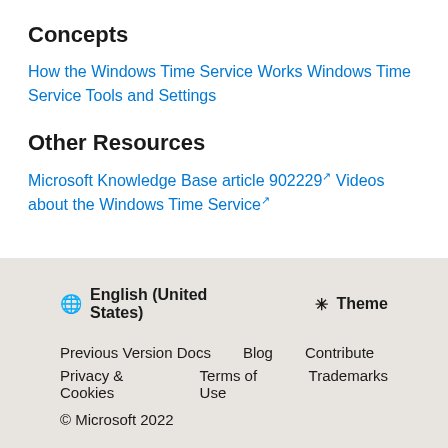Concepts
How the Windows Time Service Works Windows Time Service Tools and Settings
Other Resources
Microsoft Knowledge Base article 902229 ↗ Videos about the Windows Time Service ↗
🌐 English (United States)  ☀ Theme  Previous Version Docs  Blog  Contribute  Privacy & Cookies  Terms of Use  Trademarks  © Microsoft 2022